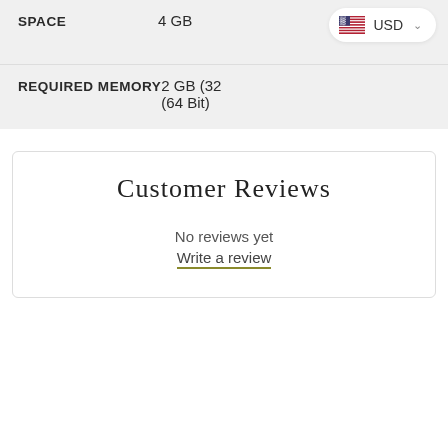| Property | Value |
| --- | --- |
| SPACE | 4 GB |
| REQUIRED MEMORY | 2 GB (32
(64 Bit) |
Customer Reviews
No reviews yet
Write a review